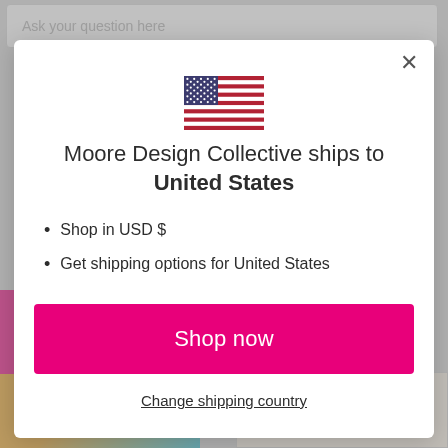[Figure (screenshot): Background webpage with input field 'Ask your question here', pink sidebar element, and product images at the bottom]
[Figure (illustration): US flag illustration shown in the modal dialog]
Moore Design Collective ships to United States
Shop in USD $
Get shipping options for United States
Shop now
Change shipping country